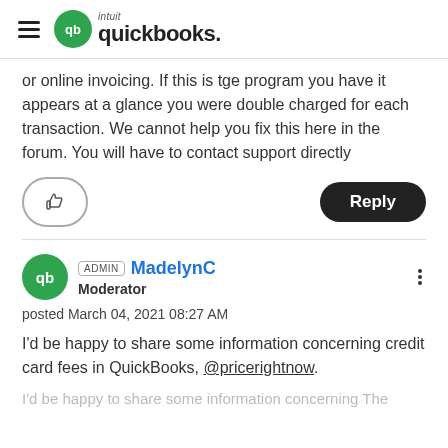Intuit QuickBooks
or online invoicing.  If this is tge program you have it appears at a glance you were double charged for each transaction. We cannot help you fix this here in the forum. You will have to contact support directly
ADMIN MadelynC
Moderator
posted March 04, 2021 08:27 AM
I'd be happy to share some information concerning credit card fees in QuickBooks, @pricerightnow.